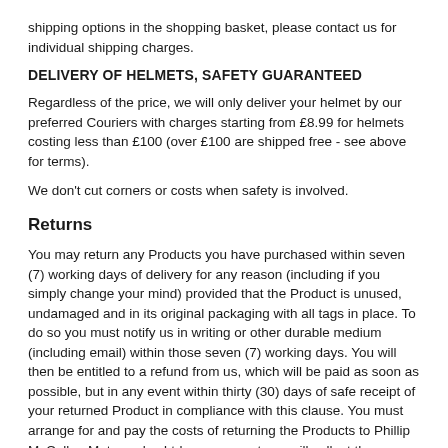shipping options in the shopping basket, please contact us for individual shipping charges.
DELIVERY OF HELMETS, SAFETY GUARANTEED
Regardless of the price, we will only deliver your helmet by our preferred Couriers with charges starting from £8.99 for helmets costing less than £100 (over £100 are shipped free - see above for terms).
We don't cut corners or costs when safety is involved.
Returns
You may return any Products you have purchased within seven (7) working days of delivery for any reason (including if you simply change your mind) provided that the Product is unused, undamaged and in its original packaging with all tags in place. To do so you must notify us in writing or other durable medium (including email) within those seven (7) working days. You will then be entitled to a refund from us, which will be paid as soon as possible, but in any event within thirty (30) days of safe receipt of your returned Product in compliance with this clause. You must arrange for and pay the costs of returning the Products to Phillip McCallen Motorcycles Ltd – on request, we will collect the Products from you, but the cost of this